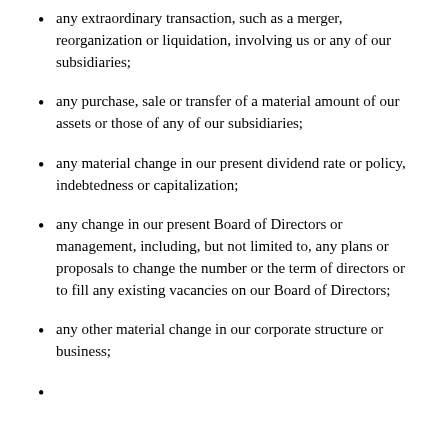any extraordinary transaction, such as a merger, reorganization or liquidation, involving us or any of our subsidiaries;
any purchase, sale or transfer of a material amount of our assets or those of any of our subsidiaries;
any material change in our present dividend rate or policy, indebtedness or capitalization;
any change in our present Board of Directors or management, including, but not limited to, any plans or proposals to change the number or the term of directors or to fill any existing vacancies on our Board of Directors;
any other material change in our corporate structure or business;